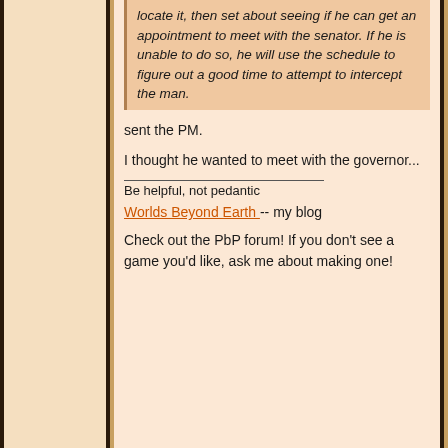locate it, then set about seeing if he can get an appointment to meet with the senator. If he is unable to do so, he will use the schedule to figure out a good time to attempt to intercept the man.
sent the PM.
I thought he wanted to meet with the governor...
Be helpful, not pedantic
Worlds Beyond Earth -- my blog
Check out the PbP forum! If you don't see a game you'd like, ask me about making one!